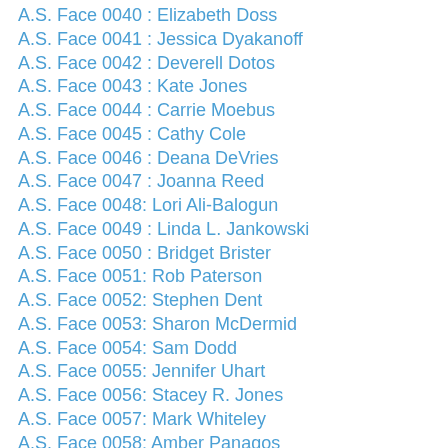A.S. Face 0040 : Elizabeth Doss
A.S. Face 0041 : Jessica Dyakanoff
A.S. Face 0042 : Deverell Dotos
A.S. Face 0043 : Kate Jones
A.S. Face 0044 : Carrie Moebus
A.S. Face 0045 : Cathy Cole
A.S. Face 0046 : Deana DeVries
A.S. Face 0047 : Joanna Reed
A.S. Face 0048: Lori Ali-Balogun
A.S. Face 0049 : Linda L. Jankowski
A.S. Face 0050 : Bridget Brister
A.S. Face 0051: Rob Paterson
A.S. Face 0052: Stephen Dent
A.S. Face 0053: Sharon McDermid
A.S. Face 0054: Sam Dodd
A.S. Face 0055: Jennifer Uhart
A.S. Face 0056: Stacey R. Jones
A.S. Face 0057: Mark Whiteley
A.S. Face 0058: Amber Panagos
A.S. Face 0059: Karina Selvaggio